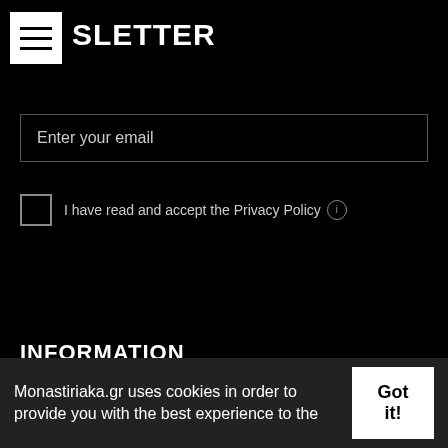NEWSLETTER
Enter your email
I have read and accept the Privacy Policy
Register
INFORMATION
Our Blog
About us
Order Methods
Shipping Information
Terms of Use
Monastiriaka.gr uses cookies in order to provide you with the best experience to the
Got it!